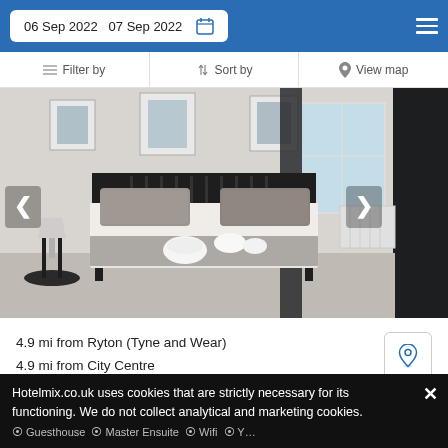06 Sep 2022  07 Sep 2022
Filter by  Sort by  View map
[Figure (photo): Bedroom with black metal bed frame, white and grey bedding, grey pillows, rolled white towels, bedside lamp, window with dark curtains, and framed pictures on wall.]
4.9 mi from Ryton (Tyne and Wear)
4.9 mi from City Centre
SELECT
Hotelmix.co.uk uses cookies that are strictly necessary for its functioning. We do not collect analytical and marketing cookies.
Guesthouse  Master Ensuite  Wifi  Y...